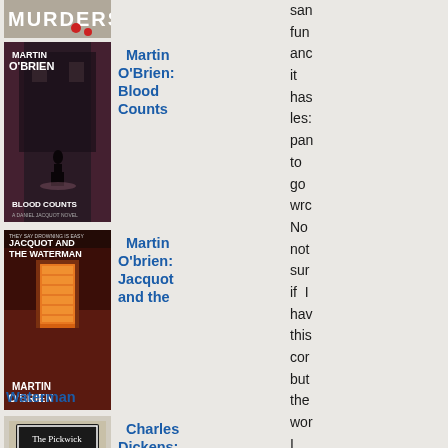[Figure (photo): Book cover - partial, top cropped - appears to be a murder mystery, red dots visible]
[Figure (photo): Book cover - Martin O'Brien Blood Counts - dark alley scene with silhouette]
Martin O'Brien: Blood Counts
[Figure (photo): Book cover - Martin O'Brien Jacquot and the Waterman - doorway with orange light]
Martin O'brien: Jacquot and the Waterman
Waterman
[Figure (photo): Book cover - The Pickwick Papers by Charles Dickens]
Charles Dickens: The
san
fun
anc
it
has
les:
pan
to
go
wrc
No
not
sur
if I
hav
this
cor
but
the
wor
I
hon
in